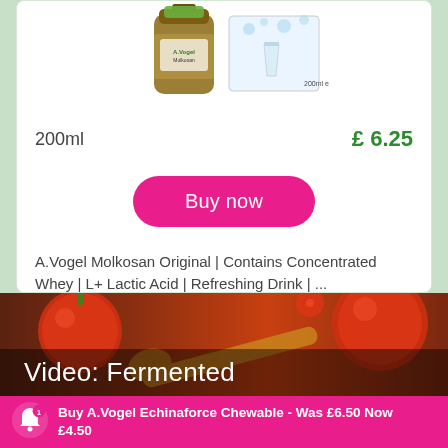[Figure (photo): Product image of A.Vogel Molkosan Original 200ml bottle with packaging showing a glass of drink]
200ml
£ 6.25
Buy now
A.Vogel Molkosan Original | Contains Concentrated Whey | L+ Lactic Acid | Refreshing Drink | ...
More info
[Figure (photo): Background image of tomatoes with wooden spoon for Video: Fermented section]
Video: Fermented
Buy A.Vogel Echinaforce Chewable - Was £6.50 Now £4.50